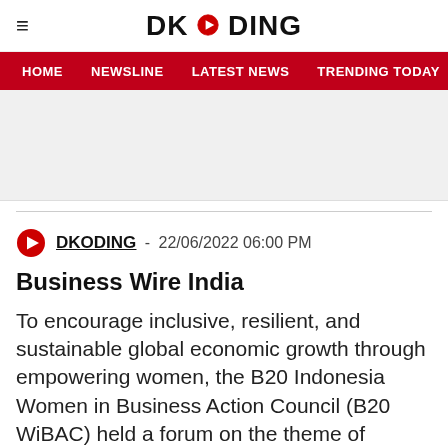DKODING
HOME  NEWSLINE  LATEST NEWS  TRENDING TODAY  ENT
[Figure (other): Advertisement placeholder box, light grey background]
DKODING - 22/06/2022 06:00 PM
Business Wire India
To encourage inclusive, resilient, and sustainable global economic growth through empowering women, the B20 Indonesia Women in Business Action Council (B20 WiBAC) held a forum on the theme of Accelerating Inclusion of Women MSMEs in